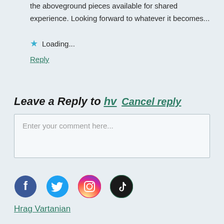the aboveground pieces available for shared experience. Looking forward to whatever it becomes...
Loading...
Reply
Leave a Reply to hv  Cancel reply
Enter your comment here...
[Figure (illustration): Social media icons: Facebook, Twitter, Instagram, TikTok]
Hrag Vartanian